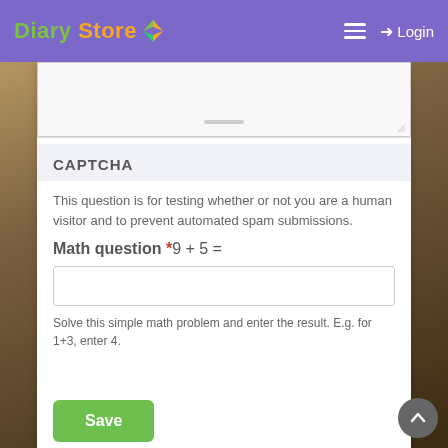Diary Store — Login
CAPTCHA
This question is for testing whether or not you are a human visitor and to prevent automated spam submissions.
Math question *9 + 5 =
Solve this simple math problem and enter the result. E.g. for 1+3, enter 4.
Save